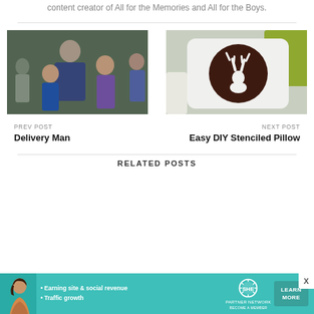content creator of All for the Memories and All for the Boys.
[Figure (photo): Group of people smiling outdoors, Delivery Man movie related image]
PREV POST
Delivery Man
[Figure (photo): White decorative pillow with dark brown deer/stag silhouette circle on chair with green cushions]
NEXT POST
Easy DIY Stenciled Pillow
RELATED POSTS
[Figure (other): SHE Partner Network advertisement banner - Earning site & social revenue, Traffic growth, Learn More button]